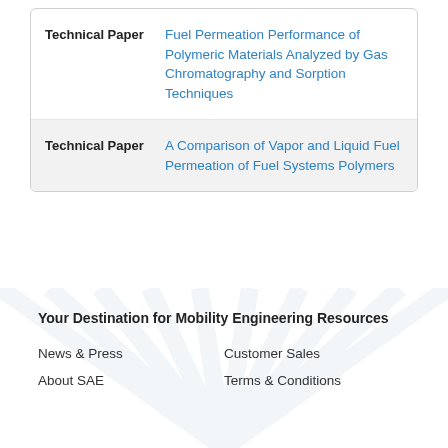| Type | Title |
| --- | --- |
| Technical Paper | Fuel Permeation Performance of Polymeric Materials Analyzed by Gas Chromatography and Sorption Techniques |
| Technical Paper | A Comparison of Vapor and Liquid Fuel Permeation of Fuel Systems Polymers |
Your Destination for Mobility Engineering Resources
News & Press
Customer Sales
About SAE
Terms & Conditions